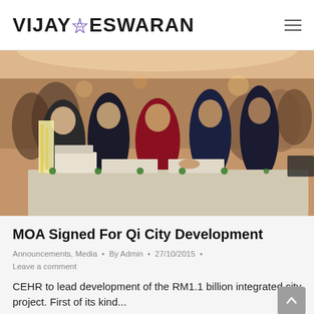VIJAY ESWARAN
[Figure (photo): Group of suited men examining an architectural scale model of Qi City development at a formal event. The model shows tall towers and low-rise buildings with green landscaping.]
MOA Signed For Qi City Development
Announcements, Media • By Admin • 27/10/2015 • Leave a comment
CEHR to lead development of the RM1.1 billion integrated city project. First of its kind...